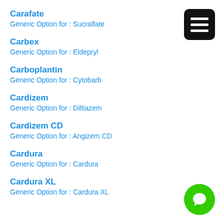Carafate
Generic Option for : Sucralfate
Carbex
Generic Option for : Eldepryl
Carboplantin
Generic Option for : Cytobarb
Cardizem
Generic Option for : Diltiazem
Cardizem CD
Generic Option for : Angizem CD
Cardura
Generic Option for : Cardura
Cardura XL
Generic Option for : Cardura XL